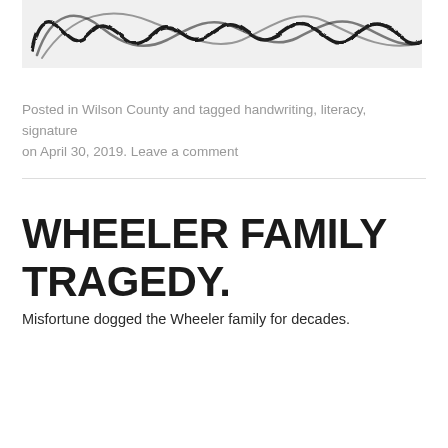[Figure (photo): Scanned handwritten cursive signature, black ink on white/grey background, reading approximately 'Henry Hasker' or similar cursive name]
Posted in Wilson County and tagged handwriting, literacy, signature on April 30, 2019. Leave a comment
WHEELER FAMILY TRAGEDY.
Misfortune dogged the Wheeler family for decades.